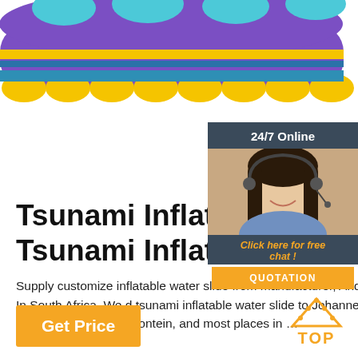[Figure (photo): Colorful inflatable water slide in purple, yellow, and blue colors cropped at top of page]
[Figure (infographic): 24/7 Online chat widget with female agent wearing headset, orange QUOTATION button, and Click here for free chat link]
Tsunami Inflatable Water Tsunami Inflatable Water
Supply customize inflatable water slide from manufacturer, And purchase inflatable water factory wholesale price. In South Africa, We d tsunami inflatable water slide to Johannesburg, Cape Town, East Rand, Durban, Pretoria, Port Elizabeth, Bloemfontein, and most places in …
[Figure (infographic): TOP icon with orange triangle/arrow pointing up with dots and TOP text in orange]
Get Price